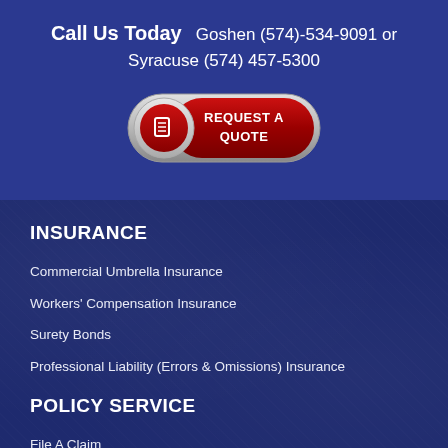Call Us Today   Goshen (574)-534-9091 or Syracuse (574) 457-5300
[Figure (other): Red and silver 'REQUEST A QUOTE' button with document icon]
INSURANCE
Commercial Umbrella Insurance
Workers' Compensation Insurance
Surety Bonds
Professional Liability (Errors & Omissions) Insurance
POLICY SERVICE
File A Claim